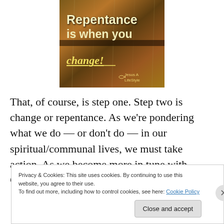[Figure (illustration): Image with text overlay on a rainy window background. Text reads 'Repentance is when you change!' with a watermark 'Jesus A LifeStyle' in the bottom right corner.]
That, of course, is step one. Step two is change or repentance. As we're pondering what we do — or don't do — in our spiritual/communal lives, we must take action. As we become more in tune with God's plan in us, we have to
Privacy & Cookies: This site uses cookies. By continuing to use this website, you agree to their use.
To find out more, including how to control cookies, see here: Cookie Policy
Close and accept